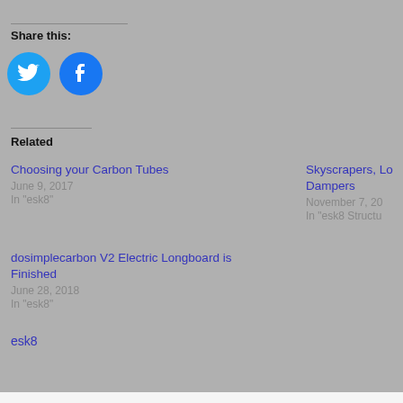Share this:
[Figure (illustration): Twitter and Facebook share buttons as blue circles with white icons]
Related
Choosing your Carbon Tubes
June 9, 2017
In "esk8"
Skyscrapers, Lo... Dampers
November 7, 20...
In "esk8 Structu..."
dosimplecarbon V2 Electric Longboard is Finished
June 28, 2018
In "esk8"
esk8